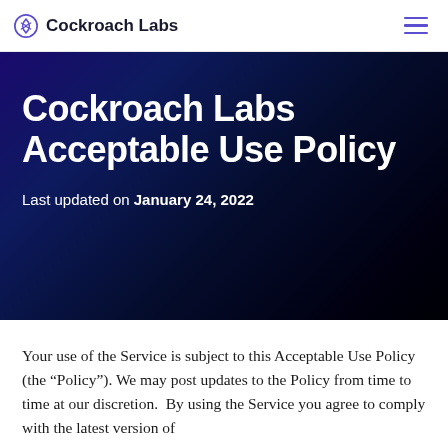Cockroach Labs
Cockroach Labs Acceptable Use Policy
Last updated on January 24, 2022
Your use of the Service is subject to this Acceptable Use Policy (the “Policy”). We may post updates to the Policy from time to time at our discretion.  By using the Service you agree to comply with the latest version of